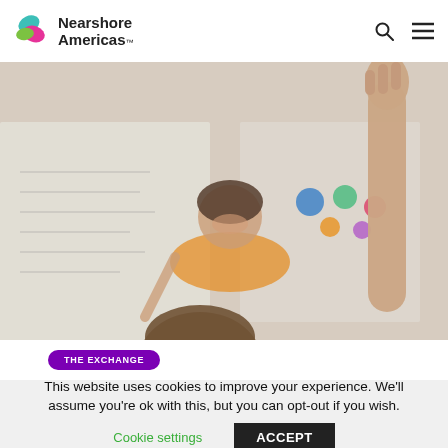Nearshore Americas
[Figure (photo): Classroom scene with a smiling female teacher pointing at a whiteboard, and a student in foreground raising their hand.]
THE EXCHANGE
This website uses cookies to improve your experience. We'll assume you're ok with this, but you can opt-out if you wish.
Cookie settings   ACCEPT